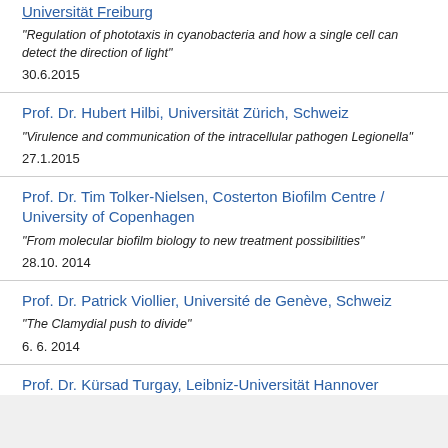Universität Freiburg
"Regulation of phototaxis in cyanobacteria and how a single cell can detect the direction of light"
30.6.2015
Prof. Dr. Hubert Hilbi, Universität Zürich, Schweiz
"Virulence and communication of the intracellular pathogen Legionella"
27.1.2015
Prof. Dr. Tim Tolker-Nielsen, Costerton Biofilm Centre / University of Copenhagen
"From molecular biofilm biology to new treatment possibilities"
28.10. 2014
Prof. Dr. Patrick Viollier, Université de Genève, Schweiz
"The Clamydial push to divide"
6. 6. 2014
Prof. Dr. Kürsad Turgay, Leibniz-Universität Hannover